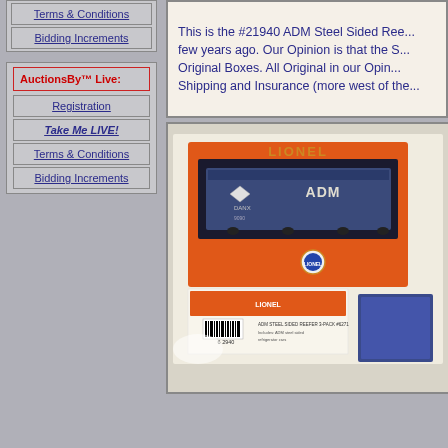Terms & Conditions
Bidding Increments
AuctionsBy™ Live:
Registration
Take Me LIVE!
Terms & Conditions
Bidding Increments
This is the #21940 ADM Steel Sided Ree... few years ago. Our Opinion is that the S... Original Boxes. All Original in our Opin... Shipping and Insurance (more west of the...
[Figure (photo): Photo of a Lionel train set box. The box is orange and white with 'LIONEL' branding. Inside the box window is a blue ADM DANX freight car. Below the main box is another Lionel orange box. A partial blue item is visible on the right side.]